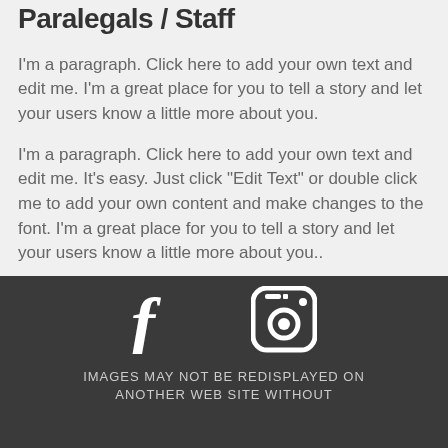Paralegals / Staff
I'm a paragraph. Click here to add your own text and edit me. I'm a great place for you to tell a story and let your users know a little more about you.
I'm a paragraph. Click here to add your own text and edit me. It's easy. Just click “Edit Text” or double click me to add your own content and make changes to the font. I'm a great place for you to tell a story and let your users know a little more about you..
LEARN MORE >>
[Figure (illustration): Dark footer bar with Facebook and Instagram social media icons in white, and text reading 'IMAGES MAY NOT BE REDISPLAYED ON ANOTHER WEB SITE WITHOUT']